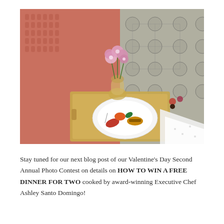[Figure (photo): A romantic Valentine's Day food presentation: a gold serving tray with a white plate holding appetizers and small dishes, a glass vase with pink flowers, placed on a tufted gray chair with a chunky knit red/coral blanket draped in the background.]
Stay tuned for our next blog post of our Valentine's Day Second Annual Photo Contest on details on HOW TO WIN A FREE DINNER FOR TWO cooked by award-winning Executive Chef Ashley Santo Domingo!